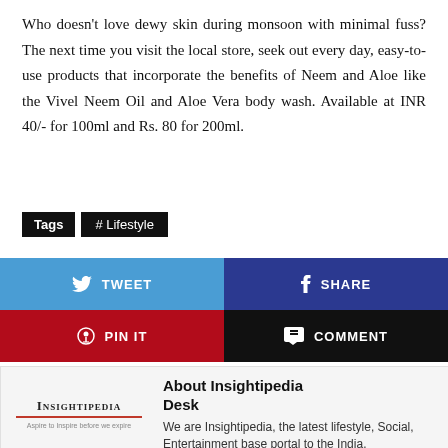Who doesn't love dewy skin during monsoon with minimal fuss? The next time you visit the local store, seek out every day, easy-to-use products that incorporate the benefits of Neem and Aloe like the Vivel Neem Oil and Aloe Vera body wash. Available at INR 40/- for 100ml and Rs. 80 for 200ml.
Tags  # Lifestyle
[Figure (infographic): Social sharing buttons: Tweet (blue), Share (dark blue), Pin It (red), Comment (black)]
[Figure (logo): Insightipedia logo with tagline 'Aspire to Inspire before we expire']
About Insightipedia Desk
We are Insightipedia, the latest lifestyle, Social, Entertainment base portal to the India.